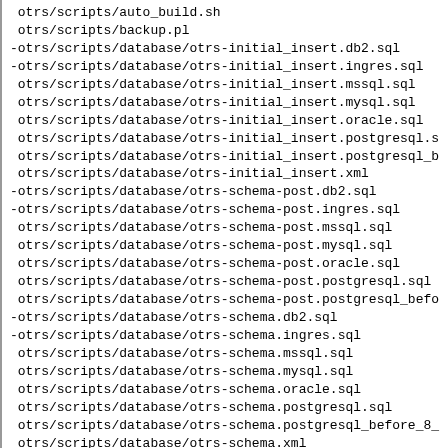otrs/scripts/auto_build.sh
 otrs/scripts/backup.pl
-otrs/scripts/database/otrs-initial_insert.db2.sql
-otrs/scripts/database/otrs-initial_insert.ingres.sql
 otrs/scripts/database/otrs-initial_insert.mssql.sql
 otrs/scripts/database/otrs-initial_insert.mysql.sql
 otrs/scripts/database/otrs-initial_insert.oracle.sql
 otrs/scripts/database/otrs-initial_insert.postgresql.s
 otrs/scripts/database/otrs-initial_insert.postgresql_b
 otrs/scripts/database/otrs-initial_insert.xml
-otrs/scripts/database/otrs-schema-post.db2.sql
-otrs/scripts/database/otrs-schema-post.ingres.sql
 otrs/scripts/database/otrs-schema-post.mssql.sql
 otrs/scripts/database/otrs-schema-post.mysql.sql
 otrs/scripts/database/otrs-schema-post.oracle.sql
 otrs/scripts/database/otrs-schema-post.postgresql.sql
 otrs/scripts/database/otrs-schema-post.postgresql_befo
-otrs/scripts/database/otrs-schema.db2.sql
-otrs/scripts/database/otrs-schema.ingres.sql
 otrs/scripts/database/otrs-schema.mssql.sql
 otrs/scripts/database/otrs-schema.mysql.sql
 otrs/scripts/database/otrs-schema.oracle.sql
 otrs/scripts/database/otrs-schema.postgresql.sql
 otrs/scripts/database/otrs-schema.postgresql_before_8_
 otrs/scripts/database/otrs-schema.xml
-otrs/scripts/database/update/otrs-upgrade-3.2.beta.xml
-otrs/scripts/database/update/otrs-upgrade-to-3.2.xml
+otrs/scripts/database/update/otrs-upgrade-to-3.3.xml
 otrs/scripts/restore.pl
 otrs/scripts/rpc-example.pl